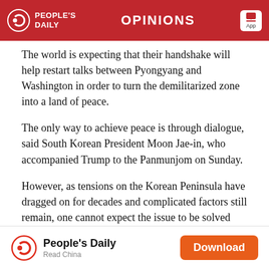PEOPLE'S DAILY | OPINIONS | App
The world is expecting that their handshake will help restart talks between Pyongyang and Washington in order to turn the demilitarized zone into a land of peace.
The only way to achieve peace is through dialogue, said South Korean President Moon Jae-in, who accompanied Trump to the Panmunjom on Sunday.
However, as tensions on the Korean Peninsula have dragged on for decades and complicated factors still remain, one cannot expect the issue to be solved overnight.
Pyongyang's efforts to ease tensions are obvious to all
People's Daily | Read China | Download